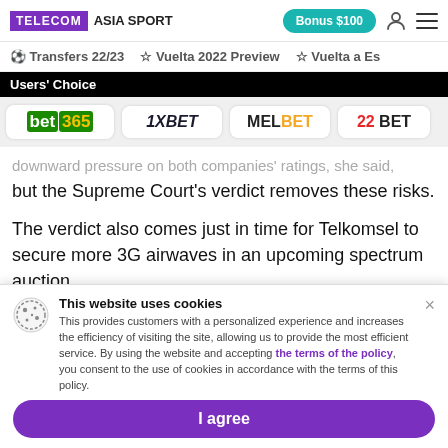TELECOM ASIA SPORT | Bonus $100
Transfers 22/23 | Vuelta 2022 Preview | Vuelta a Es
Users' Choice
[Figure (logo): Betting site logos: bet365, 1XBET, MELBET, 22BET]
downward pressure on both companies ratings, she said, but the Supreme Court's verdict removes these risks.
The verdict also comes just in time for Telkomsel to secure more 3G airwaves in an upcoming spectrum auction.
This website uses cookies
This provides customers with a personalized experience and increases the efficiency of visiting the site, allowing us to provide the most efficient service. By using the website and accepting the terms of the policy, you consent to the use of cookies in accordance with the terms of this policy.
I agree